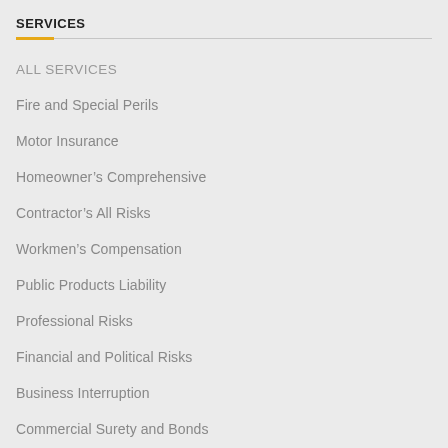SERVICES
ALL SERVICES
Fire and Special Perils
Motor Insurance
Homeowner's Comprehensive
Contractor's All Risks
Workmen's Compensation
Public Products Liability
Professional Risks
Financial and Political Risks
Business Interruption
Commercial Surety and Bonds